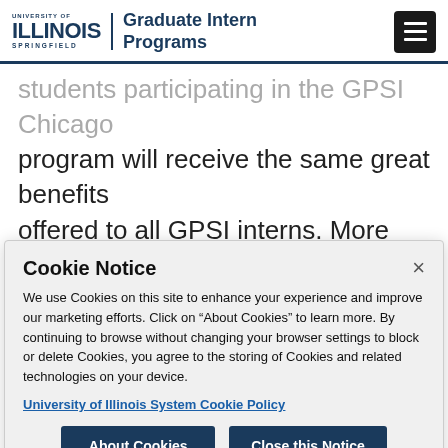University of Illinois Springfield | Graduate Intern Programs
students participating in the GPSI Chicago program will receive the same great benefits offered to all GPSI interns. More information about the benefits of the program can be found here, on our benefits page
Cookie Notice
We use Cookies on this site to enhance your experience and improve our marketing efforts. Click on “About Cookies” to learn more. By continuing to browse without changing your browser settings to block or delete Cookies, you agree to the storing of Cookies and related technologies on your device.
University of Illinois System Cookie Policy
About Cookies   Close this Notice